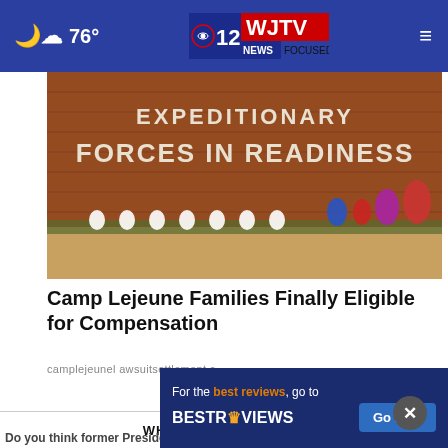76° WJTV 12 NEWS FOCUSED ON YOU
[Figure (photo): Brick wall sign reading 'EXPEDITIONARY FORCES IN READINESS' with flower memorials placed at the base]
Camp Lejeune Families Finally Eligible for Compensation
camplejeunel awsuitsettlement.c
WHAT DO YOU THINK?
Do you think former President Trump will eventually face charges stemming from classified documents
[Figure (screenshot): Ad banner: For the best reviews, go to BESTREVIEWS with Go Now button]